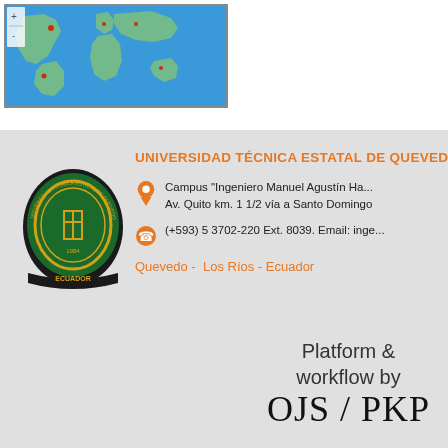[Figure (map): World map screenshot with blue ocean background and red dot markers indicating locations]
[Figure (logo): Universidad Técnica Estatal de Quevedo shield logo — green oval with gold border and text ECUADOR on banner]
UNIVERSIDAD TÉCNICA ESTATAL DE QUEVEDO
Campus "Ingeniero Manuel Agustín Ha... Av. Quito km. 1 1/2 vía a Santo Domingo
(+593) 5 3702-220 Ext. 8039. Email: inge...
Quevedo -  Los Ríos - Ecuador
Platform & workflow by OJS / PKP